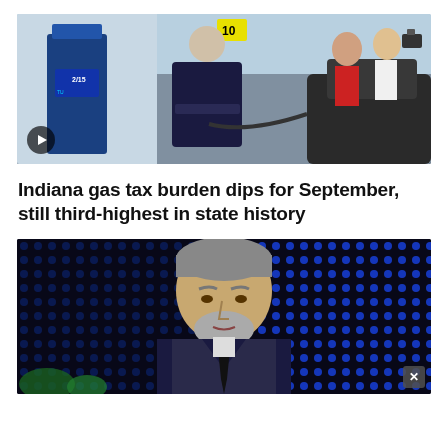[Figure (photo): Man pumping gas at a gas station, with media/press people in background. A play button overlay is visible in the bottom left corner.]
Indiana gas tax burden dips for September, still third-highest in state history
[Figure (photo): Middle-aged man with gray beard in suit and tie speaking on a television broadcast set with blue dot-pattern background. An X close button is visible in the bottom right corner.]